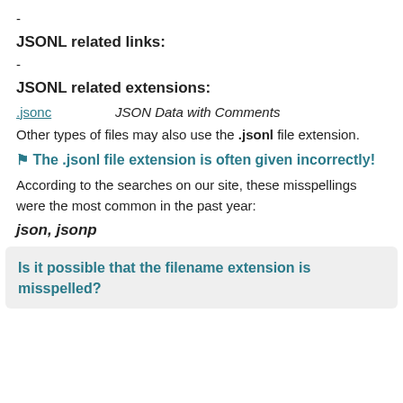-
JSONL related links:
-
JSONL related extensions:
.jsonc    JSON Data with Comments
Other types of files may also use the .jsonl file extension.
⚑ The .jsonl file extension is often given incorrectly!
According to the searches on our site, these misspellings were the most common in the past year:
json, jsonp
Is it possible that the filename extension is misspelled?